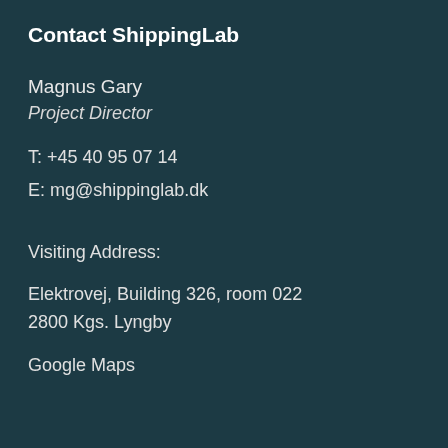Contact ShippingLab
Magnus Gary
Project Director
T: +45 40 95 07 14
E: mg@shippinglab.dk
Visiting Address:
Elektrovej, Building 326, room 022
2800 Kgs. Lyngby
Google Maps